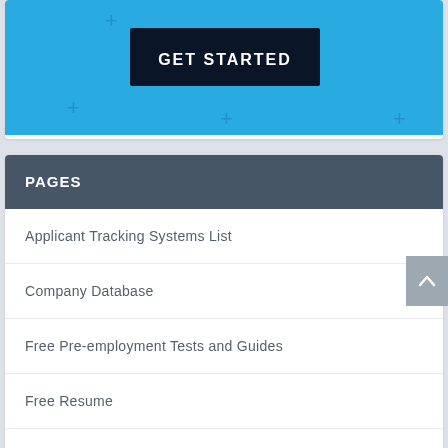[Figure (screenshot): A blue banner with a dark navy 'GET STARTED' button in the center, with decorative plus signs]
PAGES
Applicant Tracking Systems List
Company Database
Free Pre-employment Tests and Guides
Free Resume
Free Resume Review